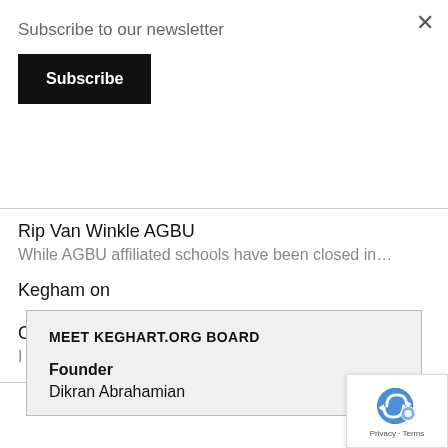Subscribe to our newsletter
Subscribe
×
Rip Van Winkle AGBU
While AGBU affiliated schools have been closed in…
Kegham on
Other Takes (10)
I truly enjoy reading Tutunjian column "Did you kn…
MEET KEGHART.ORG BOARD
Founder
Dikran Abrahamian